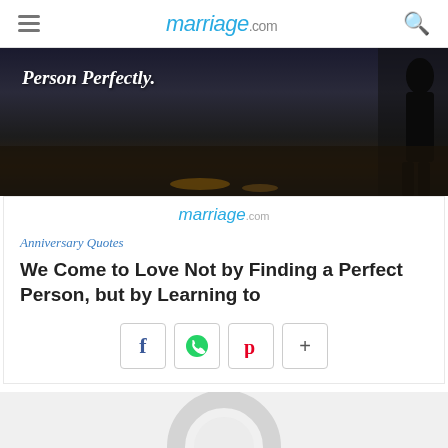marriage.com
[Figure (photo): Dark silhouette image of a person standing near water at sunset/dusk. Overlay italic text reads 'Person Perfectly.']
marriage.com
Anniversary Quotes
We Come to Love Not by Finding a Perfect Person, but by Learning to
[Figure (infographic): Social share buttons: Facebook (f), WhatsApp (phone icon), Pinterest (P), and More (+)]
[Figure (photo): Partial preview of a ring or circular object on light gray background at bottom of page]